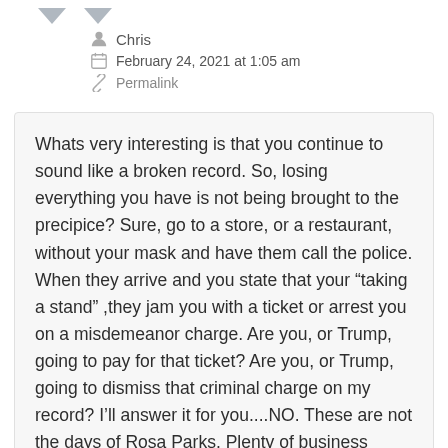Chris
February 24, 2021 at 1:05 am
Permalink
Whats very interesting is that you continue to sound like a broken record. So, losing everything you have is not being brought to the precipice? Sure, go to a store, or a restaurant, without your mask and have them call the police. When they arrive and you state that your “taking a stand” ,they jam you with a ticket or arrest you on a misdemeanor charge. Are you, or Trump, going to pay for that ticket? Are you, or Trump, going to dismiss that criminal charge on my record? I’ll answer it for you....NO. These are not the days of Rosa Parks. Plenty of business owners and regular joes have stood up against them. They